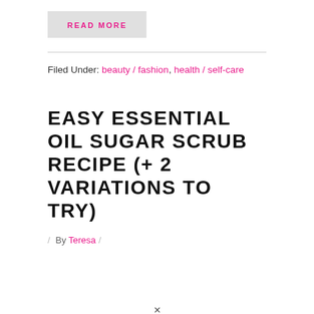READ MORE
Filed Under: beauty / fashion, health / self-care
EASY ESSENTIAL OIL SUGAR SCRUB RECIPE (+ 2 VARIATIONS TO TRY)
/ By Teresa /